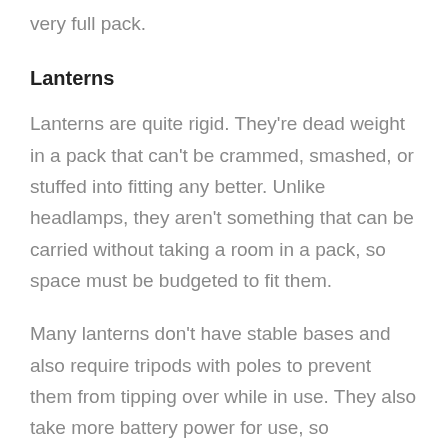very full pack.
Lanterns
Lanterns are quite rigid. They're dead weight in a pack that can't be crammed, smashed, or stuffed into fitting any better. Unlike headlamps, they aren't something that can be carried without taking a room in a pack, so space must be budgeted to fit them.
Many lanterns don't have stable bases and also require tripods with poles to prevent them from tipping over while in use. They also take more battery power for use, so